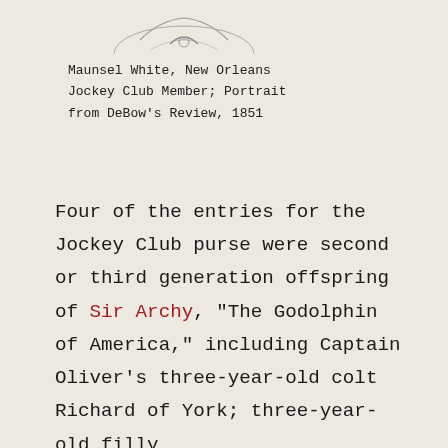[Figure (illustration): Partial view of a sketched portrait illustration, showing the top/bottom portion of a figure, cropped at the top of the page.]
Maunsel White, New Orleans Jockey Club Member; Portrait from DeBow's Review, 1851
Four of the entries for the Jockey Club purse were second or third generation offspring of Sir Archy, "The Godolphin of America," including Captain Oliver's three-year-old colt Richard of York; three-year-old filly